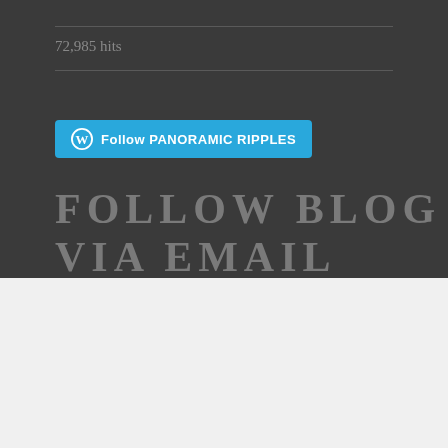72,985 hits
[Figure (screenshot): Follow PANORAMIC RIPPLES button with WordPress logo on cyan/blue background]
FOLLOW BLOG VIA EMAIL
Advertisements
[Figure (screenshot): DuckDuckGo advertisement: Search, browse, and email with more privacy. All in One Free App. Shows a phone with DuckDuckGo logo on orange background.]